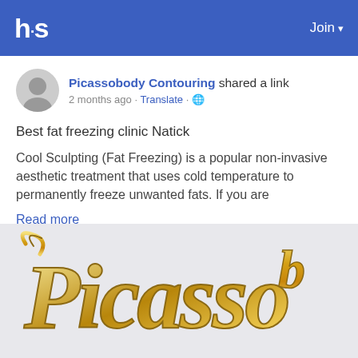h·s   Join ▾
Picassobody Contouring shared a link
2 months ago · Translate · 🌐
Best fat freezing clinic Natick
Cool Sculpting (Fat Freezing) is a popular non-invasive aesthetic treatment that uses cold temperature to permanently freeze unwanted fats. If you are
Read more
[Figure (logo): Picasso body contouring brand logo in gold/yellow stylized script lettering on light grey background]